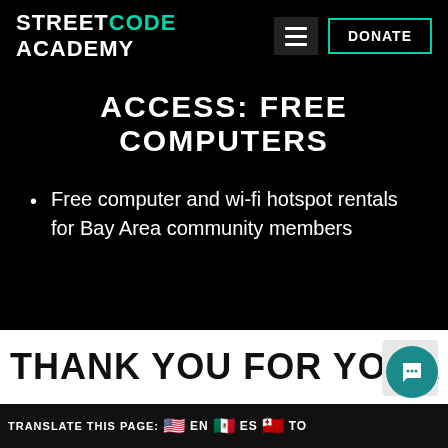STREETCODE ACADEMY
ACCESS: FREE COMPUTERS
Free computer and wi-fi hotspot rentals for Bay Area community members
THANK YOU FOR YOUR SUPPORT
TRANSLATE THIS PAGE: EN ES TO